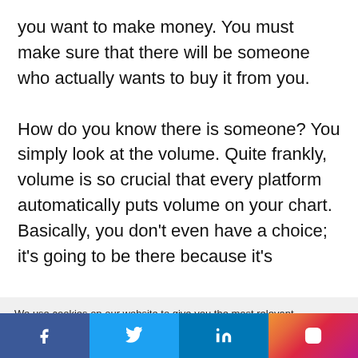you want to make money. You must make sure that there will be someone who actually wants to buy it from you.

How do you know there is someone? You simply look at the volume. Quite frankly, volume is so crucial that every platform automatically puts volume on your chart. Basically, you don't even have a choice; it's going to be there because it's
We use cookies on our website to give you the most relevant experience by remembering your preferences and repeat visits. By clicking "Accept All", you consent to the use of ALL the cookies. However, you may visit "Cookie Settings" to provide a controlled consent.
Cookie Settings | Accept All
[Figure (infographic): Social media icon bar with Facebook, Twitter, LinkedIn, and Instagram icons on colored backgrounds]